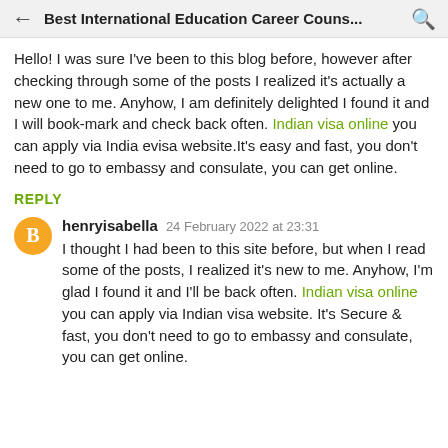Best International Education Career Couns...
Hello! I was sure I've been to this blog before, however after checking through some of the posts I realized it's actually a new one to me. Anyhow, I am definitely delighted I found it and I will book-mark and check back often. Indian visa online you can apply via India evisa website.It's easy and fast, you don't need to go to embassy and consulate, you can get online.
REPLY
henryisabella  24 February 2022 at 23:31
I thought I had been to this site before, but when I read some of the posts, I realized it's new to me. Anyhow, I'm glad I found it and I'll be back often. Indian visa online you can apply via Indian visa website. It's Secure & fast, you don't need to go to embassy and consulate, you can get online.